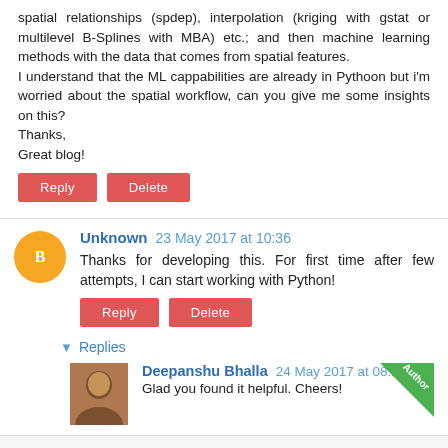spatial relationships (spdep), interpolation (kriging with gstat or multilevel B-Splines with MBA) etc.; and then machine learning methods with the data that comes from spatial features.
I understand that the ML cappabilities are already in Pythoon but i'm worried about the spatial workflow, can you give me some insights on this?
Thanks,
Great blog!
Reply | Delete
Unknown  23 May 2017 at 10:36
Thanks for developing this. For first time after few attempts, I can start working with Python!
Reply | Delete
Replies
Deepanshu Bhalla  24 May 2017 at 08:26
Glad you found it helpful. Cheers!
[Figure (infographic): Social share buttons: WhatsApp (green), Facebook (dark blue), Twitter (light blue), LinkedIn (dark teal)]